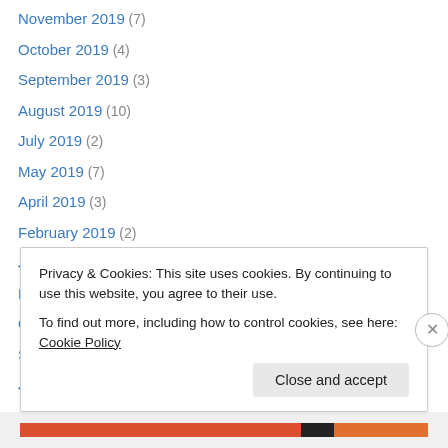November 2019 (7)
October 2019 (4)
September 2019 (3)
August 2019 (10)
July 2019 (2)
May 2019 (7)
April 2019 (3)
February 2019 (2)
January 2019 (13)
November 2018 (3)
October 2018 (4)
September 2018 (2)
June 2018 (1)
Privacy & Cookies: This site uses cookies. By continuing to use this website, you agree to their use. To find out more, including how to control cookies, see here: Cookie Policy